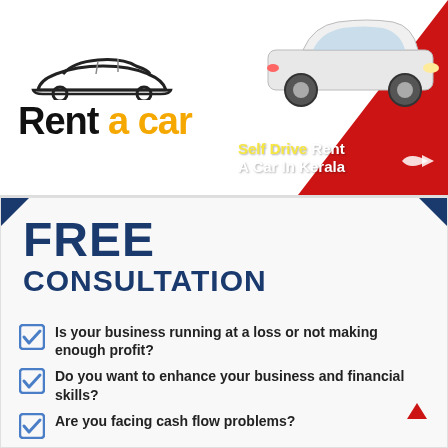[Figure (infographic): Rent a Car advertisement banner with logo on the left showing silhouette of a car and text 'Rent a car' (a in yellow), and on the right a red triangle with a white car image and text 'Self Drive Rent A Car In Kerala' in white with yellow highlight on 'Rent']
FREE CONSULTATION
Is your business running at a loss or not making enough profit?
Do you want to enhance your business and financial skills?
Are you facing cash flow problems?
Do you want to bring professional management into your business?